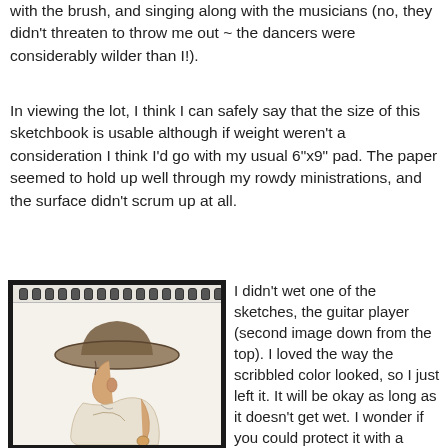with the brush, and singing along with the musicians (no, they didn't threaten to throw me out ~ the dancers were considerably wilder than I!).
In viewing the lot, I think I can safely say that the size of this sketchbook is usable although if weight weren't a consideration I think I'd go with my usual 6"x9" pad. The paper seemed to hold up well through my rowdy ministrations, and the surface didn't scrum up at all.
[Figure (illustration): A sketchbook illustration showing a person wearing a wide-brimmed cowboy hat, viewed from behind/side, holding something small. The sketchbook has a spiral binding at the top.]
I didn't wet one of the sketches, the guitar player (second image down from the top). I loved the way the scribbled color looked, so I just left it. It will be okay as long as it doesn't get wet. I wonder if you could protect it with a fixatif (maybe on both sides